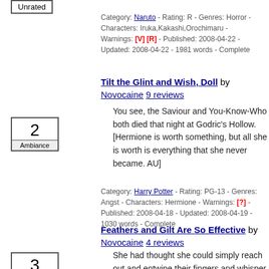Unrated
Category: Naruto - Rating: R - Genres: Horror - Characters: Iruka,Kakashi,Orochimaru - Warnings: [V] [R] - Published: 2008-04-22 - Updated: 2008-04-22 - 1981 words - Complete
Tilt the Glint and Wish, Doll by Novocaine 9 reviews
You see, the Saviour and You-Know-Who both died that night at Godric's Hollow. [Hermione is worth something, but all she is worth is everything that she never became. AU]
2 Ambiance
Category: Harry Potter - Rating: PG-13 - Genres: Angst - Characters: Hermione - Warnings: [?] - Published: 2008-04-18 - Updated: 2008-04-19 - 1030 words - Complete
Feathers and Gilt Are So Effective by Novocaine 4 reviews
She had thought she could simply reach out and entwine their fingers and whisper to the sun: i'm yours and you're mine, and here is my happiness. Femslash
3 Original